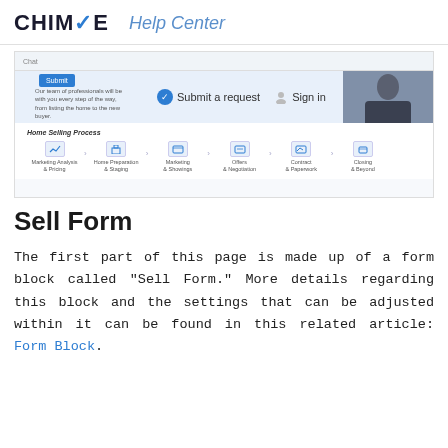CHIME Help Center
[Figure (screenshot): Screenshot of Chime CRM interface showing a chat panel, a blue Submit button, banner text about professionals, Submit a request link with checkmark icon, Sign in link with person icon, a photo of a person in dark clothing, and a Home Selling Process workflow with 6 steps: Marketing Analysis & Pricing, Home Preparation & Staging, Marketing & Showings, Offers & Negotiation, Contract & Paperwork, Closing & Beyond]
Sell Form
The first part of this page is made up of a form block called "Sell Form." More details regarding this block and the settings that can be adjusted within it can be found in this related article: Form Block.